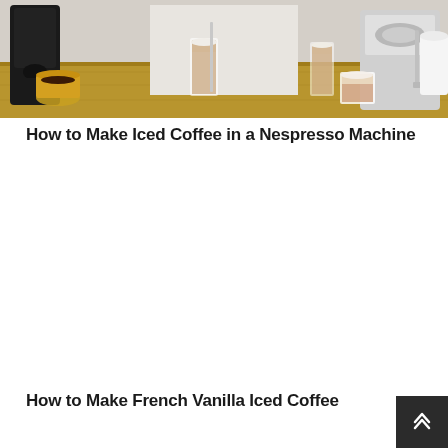[Figure (photo): Photo of Nespresso coffee machines and coffee drinks including lattes and espressos on a wooden surface with a grey/white background]
How to Make Iced Coffee in a Nespresso Machine
How to Make French Vanilla Iced Coffee